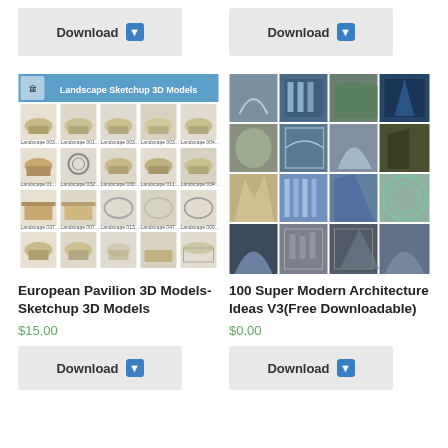[Figure (other): Download button top left with blue arrow icon]
[Figure (other): Download button top right with blue arrow icon]
[Figure (other): Landscape Sketchup 3D Models product image grid showing European Pavilion structures]
[Figure (other): 100 Super Modern Architecture Ideas V3 product image grid showing modern architecture photos]
European Pavilion 3D Models-Sketchup 3D Models
$15.00
100 Super Modern Architecture Ideas V3(Free Downloadable)
$0.00
[Figure (other): Download button bottom left with blue arrow icon]
[Figure (other): Download button bottom right with blue arrow icon]